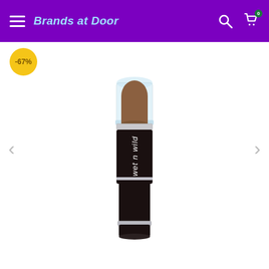Brands at Door
[Figure (photo): wet n wild lipstick product with transparent cap showing a brownish-nude lipstick bullet, black tube body with silver band, brand name 'wet n wild' written vertically in white italic text on the tube]
-67%